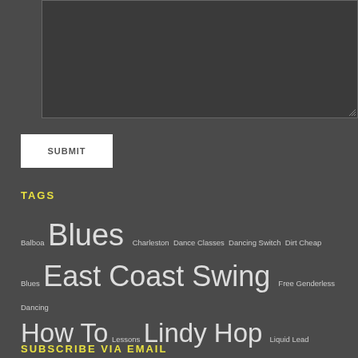[Figure (other): Dark text input textarea box with resize handle]
SUBMIT
TAGS
Balboa Blues Charleston Dance Classes Dancing Switch Dirt Cheap Blues East Coast Swing Free Genderless Dancing How To Lessons Lindy Hop Liquid Lead Nubies Social Dance Steal Dance Welcome
SUBSCRIBE VIA EMAIL